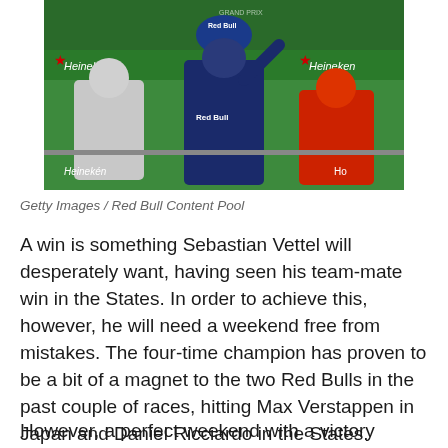[Figure (photo): Three Formula 1 drivers standing on a race podium with Heineken branding in the background. The center driver wears a Red Bull Racing suit and raises one arm, flanked by a Mercedes driver in white on the left and a Ferrari driver in red on the right.]
Getty Images / Red Bull Content Pool
A win is something Sebastian Vettel will desperately want, having seen his team-mate win in the States. In order to achieve this, however, he will need a weekend free from mistakes. The four-time champion has proven to be a bit of a magnet to the two Red Bulls in the past couple of races, hitting Max Verstappen in Japan and Daniel Ricciardo in the States.
However, a perfect weekend with a victory